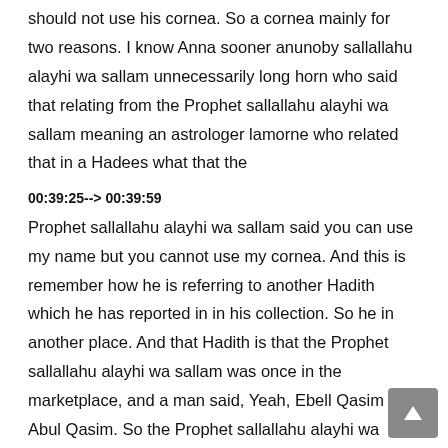should not use his cornea. So a cornea mainly for two reasons. I know Anna sooner anunoby sallallahu alayhi wa sallam unnecessarily long horn who said that relating from the Prophet sallallahu alayhi wa sallam meaning an astrologer lamorne who related that in a Hadees what that the
00:39:25--> 00:39:59
Prophet sallallahu alayhi wa sallam said you can use my name but you cannot use my cornea. And this is remember how he is referring to another Hadith which he has reported in in his collection. So he in another place. And that Hadith is that the Prophet sallallahu alayhi wa sallam was once in the marketplace, and a man said, Yeah, Ebell Qasim or Abul Qasim. So the Prophet sallallahu alayhi wa sallam turned around in order to speak to that man or in order to answer him, but the man said to him, I didn't mean to call you I was actually